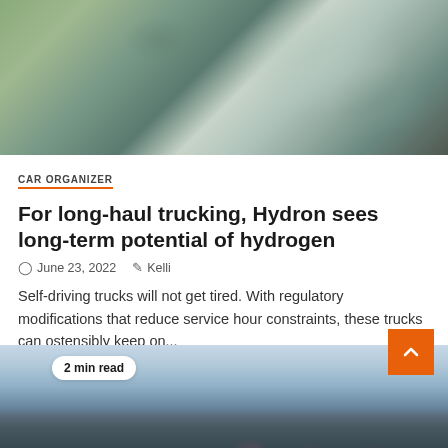[Figure (photo): Close-up photo of a wet or frosted surface, possibly a truck or vehicle exterior covered in mist or frost, with green foliage visible on the left side]
CAR ORGANIZER
For long-haul trucking, Hydron sees long-term potential of hydrogen
June 23, 2022   Kelli
Self-driving trucks will not get tired. With regulatory modifications that reduce service hour constraints, these trucks can ostensibly keep on...
[Figure (photo): Partial view of a landscape with trees and sky visible at the bottom of the page, with a '2 min read' badge overlay]